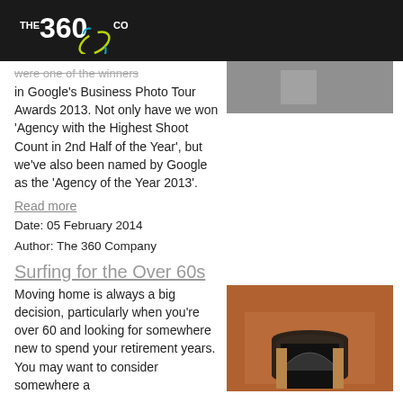THE 360 CO
were one of the winners in Google's Business Photo Tour Awards 2013. Not only have we won 'Agency with the Highest Shoot Count in 2nd Half of the Year', but we've also been named by Google as the 'Agency of the Year 2013'.
Read more
Date: 05 February 2014
Author: The 360 Company
Surfing for the Over 60s
Moving home is always a big decision, particularly when you're over 60 and looking for somewhere new to spend your retirement years. You may want to consider somewhere a